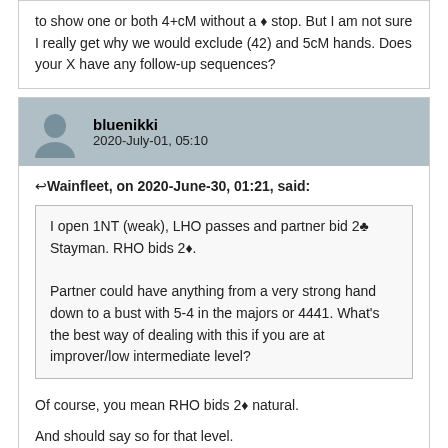to show one or both 4+cM without a ♦ stop. But I am not sure I really get why we would exclude (42) and 5cM hands. Does your X have any follow-up sequences?
bluenikki
2020-July-01, 05:10
↩ Wainfleet, on 2020-June-30, 01:21, said:
I open 1NT (weak), LHO passes and partner bid 2♣ Stayman. RHO bids 2♦.
Partner could have anything from a very strong hand down to a bust with 5-4 in the majors or 4441. What's the best way of dealing with this if you are at improver/low intermediate level?
Of course, you mean RHO bids 2♦ natural.

And should say so for that level.
ibm386
2020-July-01, 07:21